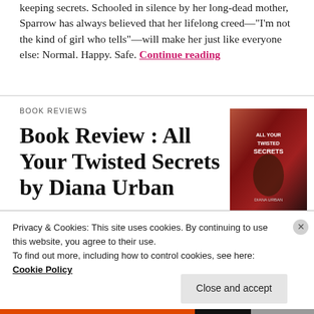keeping secrets. Schooled in silence by her long-dead mother, Sparrow has always believed that her lifelong creed—"I'm not the kind of girl who tells"—will make her just like everyone else: Normal. Happy. Safe. Continue reading
BOOK REVIEWS
Book Review : All Your Twisted Secrets by Diana Urban
[Figure (photo): Book cover of 'All Your Twisted Secrets' by Diana Urban, showing a dark red and black cover with stylized figures]
Privacy & Cookies: This site uses cookies. By continuing to use this website, you agree to their use.
To find out more, including how to control cookies, see here:
Cookie Policy